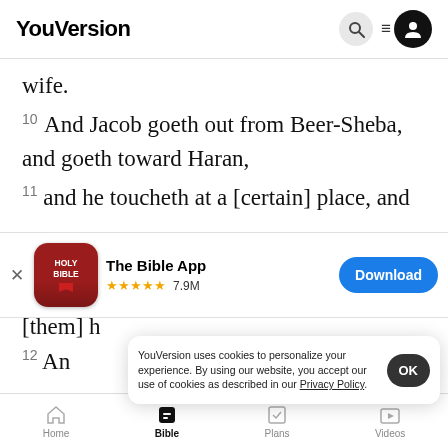YouVersion
wife.
10 And Jacob goeth out from Beer-Sheba, and goeth toward Haran,
11 and he toucheth at a [certain] place, and
[Figure (screenshot): The Bible App download banner with Holy Bible app icon, 5-star rating, 7.9M reviews, and Download button]
[them] h
12 An
YouVersion uses cookies to personalize your experience. By using our website, you accept our use of cookies as described in our Privacy Policy.
the earth, and its head is touching the heavens:
Home  Bible  Plans  Videos